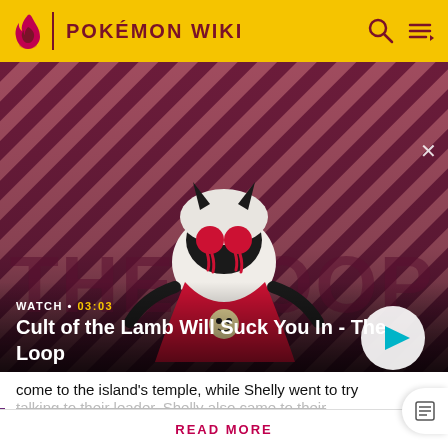POKÉMON WIKI
[Figure (screenshot): Cult of the Lamb video thumbnail showing a lamb-like creature with devil horns and glowing red eyes, holding a skull, against a dark red diagonal striped background. The Loop branding visible. Watch 03:03 timer shown. Title: Cult of the Lamb Will Suck You In - The Loop]
come to the island's temple, while Shelly went to try
talking to their leader. Shelly also came to their
Don't like the ads? Then create an account! Users with
READ MORE